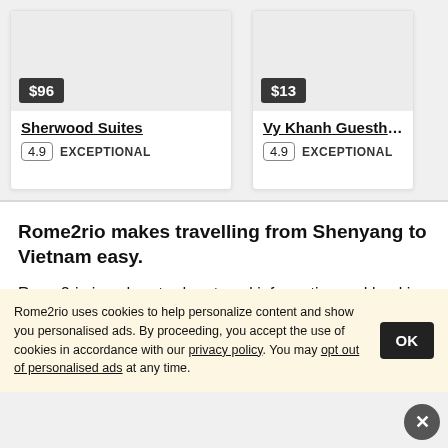[Figure (screenshot): Hotel card image placeholder for Sherwood Suites with price badge $96]
Sherwood Suites
4.9 EXCEPTIONAL
[Figure (screenshot): Hotel card image placeholder for Vy Khanh Guesthouse with price badge $13]
Vy Khanh Guesthouse
4.9 EXCEPTIONAL
Rome2rio makes travelling from Shenyang to Vietnam easy.
Rome2rio is a door-to-door travel information and booking
Rome2rio uses cookies to help personalize content and show you personalised ads. By proceeding, you accept the use of cookies in accordance with our privacy policy. You may opt out of personalised ads at any time.